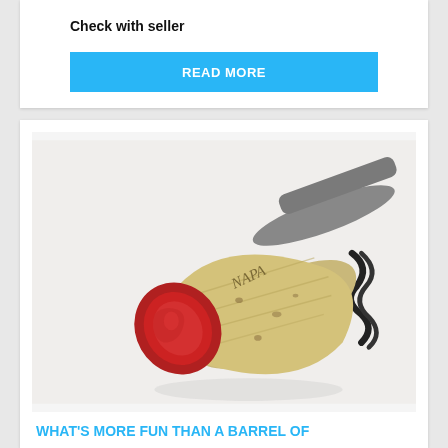Check with seller
READ MORE
[Figure (photo): A wine cork with red wine stain on the end and 'NAPA' text visible, alongside a corkscrew, on a white background]
WHAT'S MORE FUN THAN A BARREL OF
THere is nothing better than receiving the gift of wine. Tra=eat yourself to a monthly shipment of Fine Wines